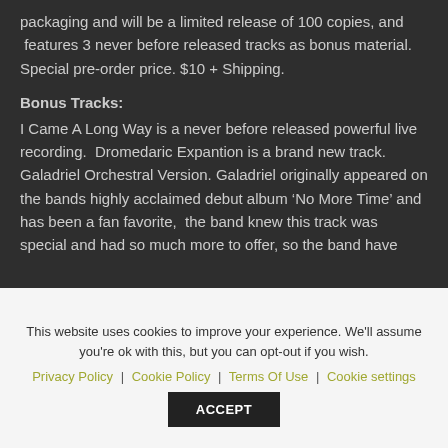packaging and will be a limited release of 100 copies, and  features 3 never before released tracks as bonus material. Special pre-order price. $10 + Shipping.
Bonus Tracks:
I Came A Long Way is a never before released powerful live recording.  Dromedaric Expantion is a brand new track. Galadriel Orchestral Version. Galadriel originally appeared on the bands highly acclaimed debut album ‘No More Time’ and has been a fan favorite,  the band knew this track was special and had so much more to offer, so the band have
This website uses cookies to improve your experience. We'll assume you're ok with this, but you can opt-out if you wish.
Privacy Policy | Cookie Policy | Terms Of Use | Cookie settings
ACCEPT